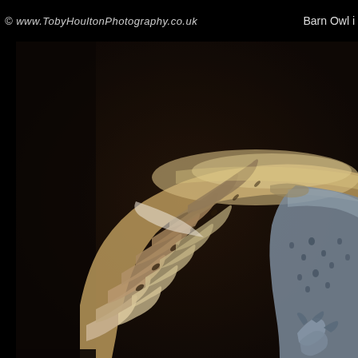© www.TobyHoultonPhotography.co.uk   Barn Owl i
[Figure (photo): Close-up photograph of a Barn Owl in flight against a dark background, showing the detailed feather pattern of the outstretched wing lit from above, with the owl's body and talons visible on the right side. The wing feathers show warm golden-brown tones on top and pale white-grey below.]